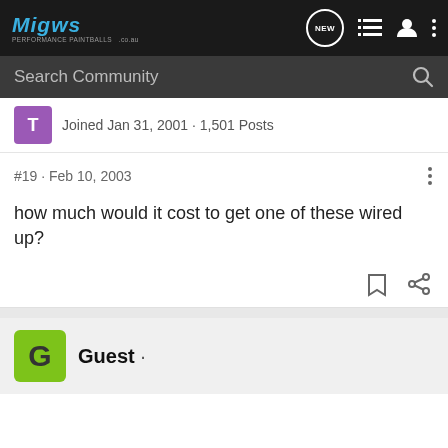Migw - Performance Paintballs .co.au
Search Community
Joined Jan 31, 2001 · 1,501 Posts
#19 · Feb 10, 2003
how much would it cost to get one of these wired up?
Guest ·